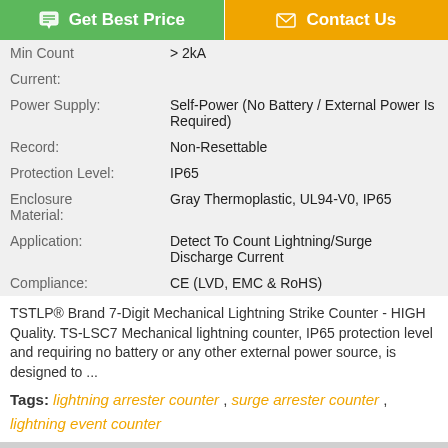[Figure (other): Top navigation buttons: 'Get Best Price' (green) and 'Contact Us' (orange)]
| Property | Value |
| --- | --- |
| Min Count | > 2kA |
| Current: |  |
| Power Supply: | Self-Power (No Battery / External Power Is Required) |
| Record: | Non-Resettable |
| Protection Level: | IP65 |
| Enclosure Material: | Gray Thermoplastic, UL94-V0, IP65 |
| Application: | Detect To Count Lightning/Surge Discharge Current |
| Compliance: | CE (LVD, EMC & RoHS) |
TSTLP® Brand 7-Digit Mechanical Lightning Strike Counter - HIGH Quality. TS-LSC7 Mechanical lightning counter, IP65 protection level and requiring no battery or any other external power source, is designed to ...
Tags: lightning arrester counter , surge arrester counter , lightning event counter
Product Description >
[Figure (other): Bottom buttons: 'Chat Now' (outlined orange) and 'Request A Quote' (filled orange)]